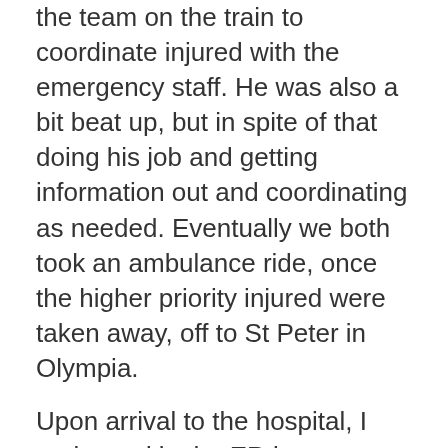the team on the train to coordinate injured with the emergency staff. He was also a bit beat up, but in spite of that doing his job and getting information out and coordinating as needed. Eventually we both took an ambulance ride, once the higher priority injured were taken away, off to St Peter in Olympia.
Upon arrival to the hospital, I registered in the ER but requested they put me back of the queue. I suppose they did, but even then, they got everybody in and cared for quickly. I got a temporary bed to get checked out and be brought in for x-ray and CT scan. One that was done I waited.
Eventually a nurse and then the doctor came to report the news. Which was bad news but mostly good news. The x-ray showed nothing but the CT scan showed I had broken what I'd mentioned before